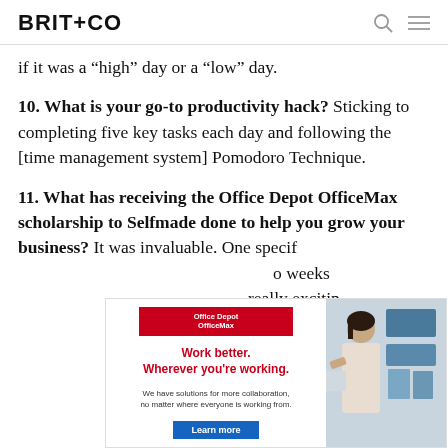BRIT+CO
if it was a “high” day or a “low” day.
10. What is your go-to productivity hack? Sticking to completing five key tasks each day and following the [time management system] Pomodoro Technique.
11. What has receiving the Office Depot OfficeMax scholarship to Selfmade done to help you grow your business? It was invaluable. One specific ... weeks ... really exciting ... s
[Figure (photo): Office Depot OfficeMax advertisement overlay showing logo, Work better. Wherever you're working. tagline, and a photo of a woman looking at documents in an office setting.]